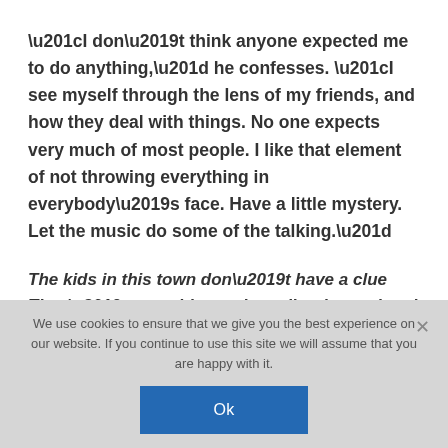“I don’t think anyone expected me to do anything,” he confesses. “I see myself through the lens of my friends, and how they deal with things. No one expects very much of most people. I like that element of not throwing everything in everybody’s face. Have a little mystery. Let the music do some of the talking.”
The kids in this town don’t have a clue
They’re as white as the collar they painted blue
– “East Nashville Song About A Train”
We use cookies to ensure that we give you the best experience on our website. If you continue to use this site we will assume that you are happy with it.